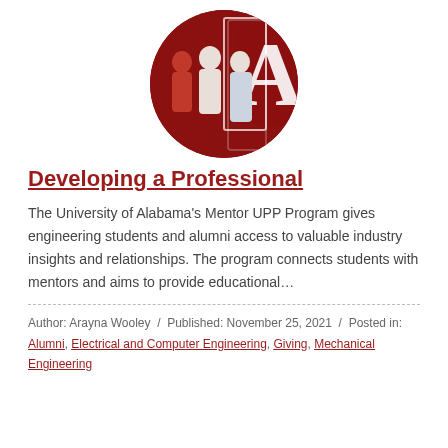[Figure (photo): Circular cropped photo of three people (two men and a woman) standing in front of a large University of Alabama 'A' logo on a red background.]
Developing a Professional
The University of Alabama's Mentor UPP Program gives engineering students and alumni access to valuable industry insights and relationships. The program connects students with mentors and aims to provide educational…
Author: Arayna Wooley / Published: November 25, 2021 / Posted in: Alumni, Electrical and Computer Engineering, Giving, Mechanical Engineering